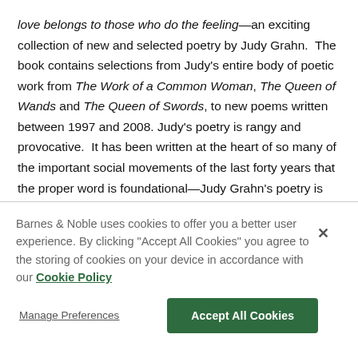love belongs to those who do the feeling—an exciting collection of new and selected poetry by Judy Grahn. The book contains selections from Judy's entire body of poetic work from The Work of a Common Woman, The Queen of Wands and The Queen of Swords, to new poems written between 1997 and 2008. Judy's poetry is rangy and provocative. It has been written at the heart of so many of the important social movements of the last forty years that the proper word is foundational—Judy Grahn's poetry is foundational to the spirit of movement. People consistently report that Judy's poetry is also uplifting—an
Barnes & Noble uses cookies to offer you a better user experience. By clicking "Accept All Cookies" you agree to the storing of cookies on your device in accordance with our Cookie Policy
Manage Preferences
Accept All Cookies